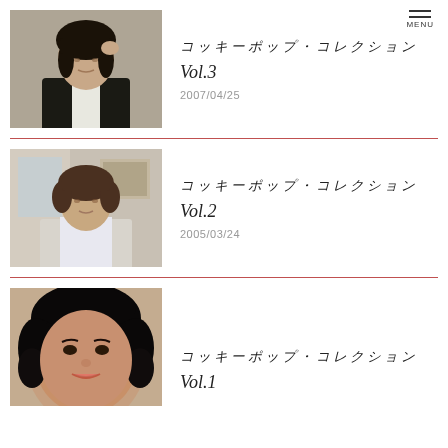[Figure (photo): Young Japanese woman in black tuxedo with bow tie, dark hair, looking at camera]
コッキーポップ・コレクション
Vol.3
2007/04/25
[Figure (photo): Japanese woman with short brown hair in white blouse, indoor setting]
コッキーポップ・コレクション
Vol.2
2005/03/24
[Figure (photo): Japanese woman with curly black hair, close-up portrait]
コッキーポップ・コレクション
Vol.1